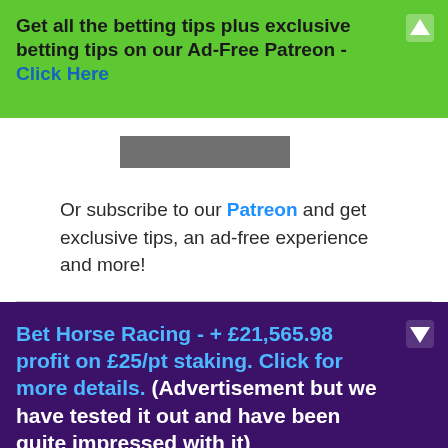Get all the betting tips plus exclusive betting tips on our Ad-Free Patreon - Click Here
[Figure (other): Gray redacted/blurred rectangular block]
Or subscribe to our Patreon and get exclusive tips, an ad-free experience and more!
Bet Horse Racing - + £21,565.98 profit on £25/pt staking. Click for more details. (Advertisement but we have tested it out and have been quite impressed with it)